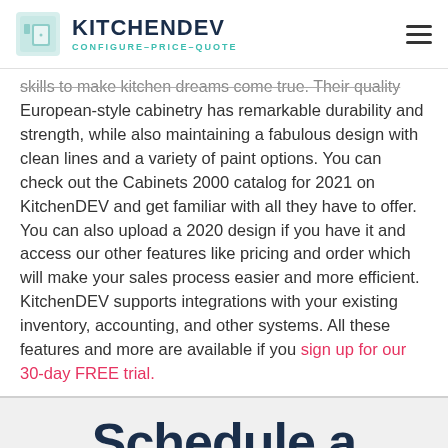KITCHENDEV CONFIGURE-PRICE-QUOTE
skills to make kitchen dreams come true. Their quality European-style cabinetry has remarkable durability and strength, while also maintaining a fabulous design with clean lines and a variety of paint options. You can check out the Cabinets 2000 catalog for 2021 on KitchenDEV and get familiar with all they have to offer. You can also upload a 2020 design if you have it and access our other features like pricing and order which will make your sales process easier and more efficient. KitchenDEV supports integrations with your existing inventory, accounting, and other systems. All these features and more are available if you sign up for our 30-day FREE trial.
Schedule a